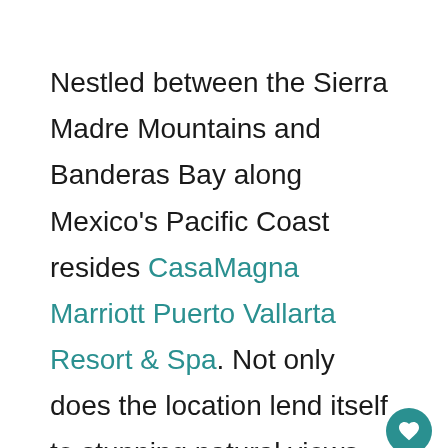Nestled between the Sierra Madre Mountains and Banderas Bay along Mexico's Pacific Coast resides CasaMagna Marriott Puerto Vallarta Resort & Spa. Not only does the location lend itself to stunning natural views but the popular beach town of Puerto Vallarta is home to a vibrant culinary and arts scene with festivals and enough adventure activities to fill up the wanderlust tank of any thrill seeking